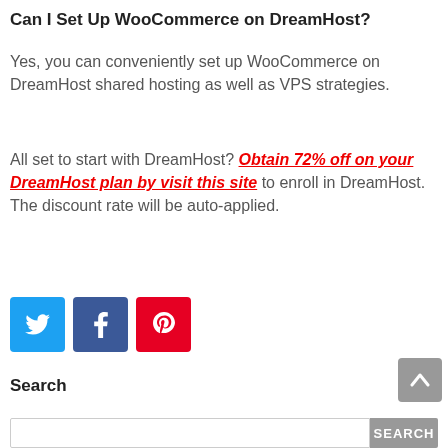Can I Set Up WooCommerce on DreamHost?
Yes, you can conveniently set up WooCommerce on DreamHost shared hosting as well as VPS strategies.
All set to start with DreamHost? Obtain 72% off on your DreamHost plan by visit this site to enroll in DreamHost. The discount rate will be auto-applied.
[Figure (infographic): Social share buttons: Twitter (blue), Facebook (dark blue), Pinterest (red)]
Search
SEARCH